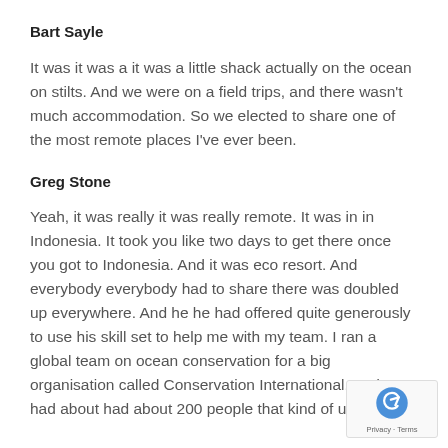Bart Sayle
It was it was a it was a little shack actually on the ocean on stilts. And we were on a field trips, and there wasn't much accommodation. So we elected to share one of the most remote places I've ever been.
Greg Stone
Yeah, it was really it was really remote. It was in in Indonesia. It took you like two days to get there once you got to Indonesia. And it was eco resort. And everybody everybody had to share there was doubled up everywhere. And he he had offered quite generously to use his skill set to help me with my team. I ran a global team on ocean conservation for a big organisation called Conservation International. And I had about had about 200 people that kind of under my